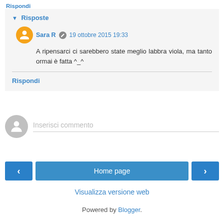Rispondi
Risposte
Sara R  19 ottobre 2015 19:33
A ripensarci ci sarebbero state meglio labbra viola, ma tanto ormai è fatta ^_^
Rispondi
Inserisci commento
Home page
Visualizza versione web
Powered by Blogger.